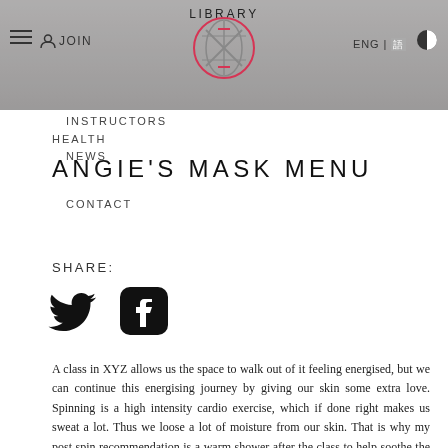[Figure (screenshot): Website header with gray background, LIBRARY text at top, hamburger menu icon, JOIN button with person icon, central circular logo with X mark in red outline, ENG language selector, and dark mode toggle]
LIBRARY
INSTRUCTORS
HEALTH
NEWS
ANGIE'S MASK MENU
CONTACT
SHARE:
[Figure (logo): Twitter bird icon (black)]
[Figure (logo): Facebook icon (black rounded square with f)]
A class in XYZ allows us the space to walk out of it feeling energised, but we can continue this energising journey by giving our skin some extra love. Spinning is a high intensity cardio exercise, which if done right makes us sweat a lot. Thus we loose a lot of moisture from our skin. That is why my post spin recommendation is a warm shower after the class to help soothe the muscles and also open up the pores. Opening the pores enhances my next step, which for me is putting a face mask on. I always like a super soothing, hydrating mask at this